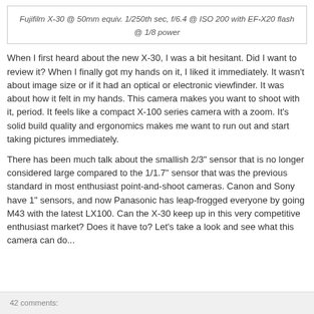Fujifilm X-30 @ 50mm equiv. 1/250th sec, f/6.4 @ ISO 200 with EF-X20 flash @ 1/8 power
When I first heard about the new X-30, I was a bit hesitant. Did I want to review it? When I finally got my hands on it, I liked it immediately. It wasn't about image size or if it had an optical or electronic viewfinder. It was about how it felt in my hands. This camera makes you want to shoot with it, period. It feels like a compact X-100 series camera with a zoom. It's solid build quality and ergonomics makes me want to run out and start taking pictures immediately.
There has been much talk about the smallish 2/3" sensor that is no longer considered large compared to the 1/1.7" sensor that was the previous standard in most enthusiast point-and-shoot cameras. Canon and Sony have 1" sensors, and now Panasonic has leap-frogged everyone by going M43 with the latest LX100. Can the X-30 keep up in this very competitive enthusiast market? Does it have to? Let's take a look and see what this camera can do...
42 comments: